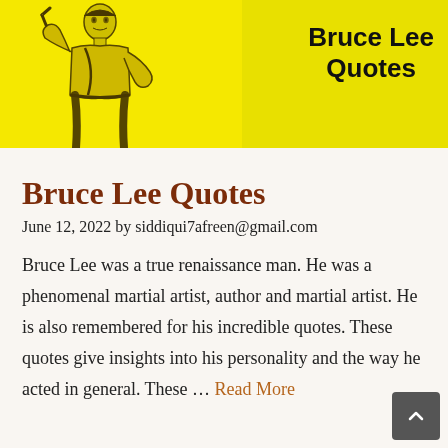[Figure (illustration): Banner with yellow background split into two shades. Left side shows a sketch/illustration of Bruce Lee in a fighting stance. Right side shows bold black text 'Bruce Lee Quotes' on yellow background.]
Bruce Lee Quotes
June 12, 2022 by siddiqui7afreen@gmail.com
Bruce Lee was a true renaissance man. He was a phenomenal martial artist, author and martial artist. He is also remembered for his incredible quotes. These quotes give insights into his personality and the way he acted in general. These … Read More